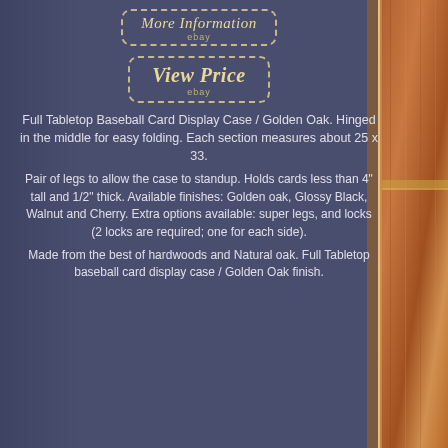[Figure (other): Dashed-border button: 'More Information' with 'ebay' subtitle]
[Figure (other): Dashed-border button: 'View Price' with 'ebay' subtitle]
Full Tabletop Baseball Card Display Case / Golden Oak. Hinged in the middle for easy folding. Each section measures about 25 x 33.
Pair of legs to allow the case to standup. Holds cards less than 4" tall and 1/2" thick. Available finishes: Golden oak, Glossy Black, Walnut and Cherry. Extra options available: super legs, and locks (2 locks are required; one for each side).
Made from the best of hardwoods and Natural oak. Full Tabletop baseball card display case / Golden Oak finish.
[Figure (photo): Right side partial photo of a wooden baseball card display case with golden oak finish]